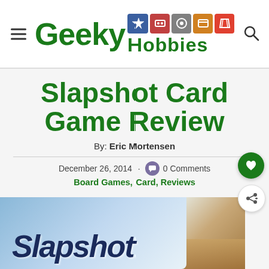Geeky Hobbies
Slapshot Card Game Review
By: Eric Mortensen
December 26, 2014 · 0 Comments
Board Games, Card, Reviews
[Figure (photo): Photo of the Slapshot card game box showing the game title in bold italic text against a light blue and wooden table background]